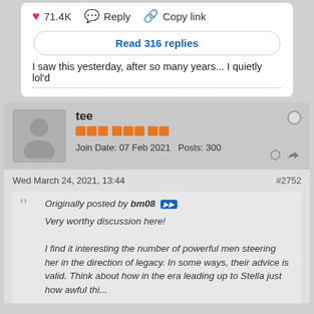❤ 71.4K   💬 Reply   🔗 Copy link
Read 316 replies
I saw this yesterday, after so many years... I quietly lol'd
tee
Join Date: 07 Feb 2021   Posts: 300
Wed March 24, 2021, 13:44
#2752
Originally posted by bm08 ▶▶

Very worthy discussion here!

I find it interesting the number of powerful men steering her in the direction of legacy. In some ways, their advice is valid. Think about how in the era leading up to Stella just how awful this was for...